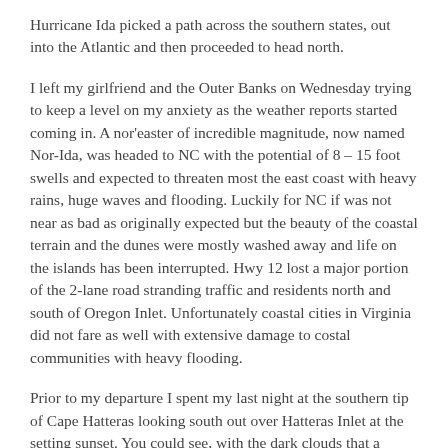Hurricane Ida picked a path across the southern states, out into the Atlantic and then proceeded to head north.
I left my girlfriend and the Outer Banks on Wednesday trying to keep a level on my anxiety as the weather reports started coming in. A nor'easter of incredible magnitude, now named Nor-Ida, was headed to NC with the potential of 8 – 15 foot swells and expected to threaten most the east coast with heavy rains, huge waves and flooding. Luckily for NC if was not near as bad as originally expected but the beauty of the coastal terrain and the dunes were mostly washed away and life on the islands has been interrupted. Hwy 12 lost a major portion of the 2-lane road stranding traffic and residents north and south of Oregon Inlet. Unfortunately coastal cities in Virginia did not fare as well with extensive damage to costal communities with heavy flooding.
Prior to my departure I spent my last night at the southern tip of Cape Hatteras looking south out over Hatteras Inlet at the setting sunset. You could see, with the dark clouds that a storm was brewing. The attached shot is a panoramic view of the island the f...